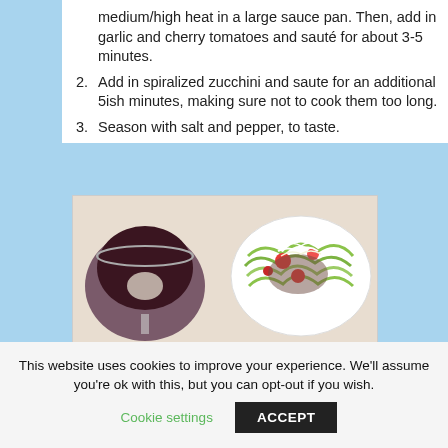medium/high heat in a large sauce pan. Then, add in garlic and cherry tomatoes and sauté for about 3-5 minutes.
2. Add in spiralized zucchini and saute for an additional 5ish minutes, making sure not to cook them too long.
3. Season with salt and pepper, to taste.
[Figure (photo): A glass of red wine on the left and a white bowl of zucchini noodles with tomato sauce and shredded cheese on the right, photographed from above on a white surface.]
This website uses cookies to improve your experience. We'll assume you're ok with this, but you can opt-out if you wish.
Cookie settings   ACCEPT